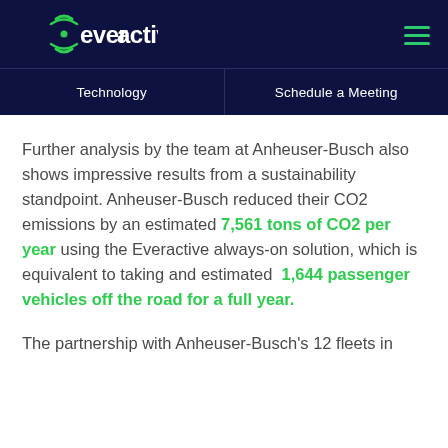everactive | Technology | Schedule a Meeting
Further analysis by the team at Anheuser-Busch also shows impressive results from a sustainability standpoint. Anheuser-Busch reduced their CO2 emissions by an estimated 7,561 tons of CO2 per year using the Everactive always-on solution, which is equivalent to taking and estimated 1,644 passenger vehicles off the road for a full year.
The partnership with Anheuser-Busch's 12 fleets in...